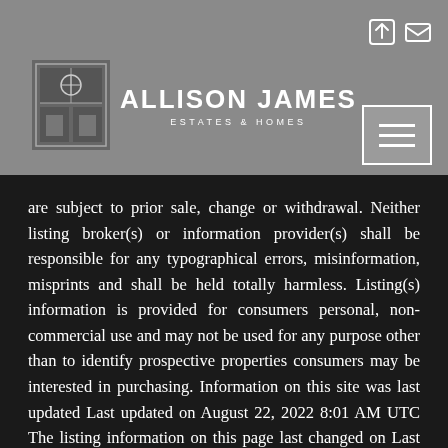[Figure (logo): Allison James Estates & Homes logo with heraldic shield icon and white text on grey background]
are subject to prior sale, change or withdrawal. Neither listing broker(s) or information provider(s) shall be responsible for any typographical errors, misinformation, misprints and shall be held totally harmless. Listing(s) information is provided for consumers personal, non-commercial use and may not be used for any purpose other than to identify prospective properties consumers may be interested in purchasing. Information on this site was last updated Last updated on August 22, 2022 8:01 AM UTC The listing information on this page last changed on Last updated on August 22, 2022 8:01 AM UTCd. The data relating to real estate for sale on this website comes in part from the Internet Data Exchange program of MFR MLS. All information deemed reliable but not guaranteed. All properties are subject to prior sale, change